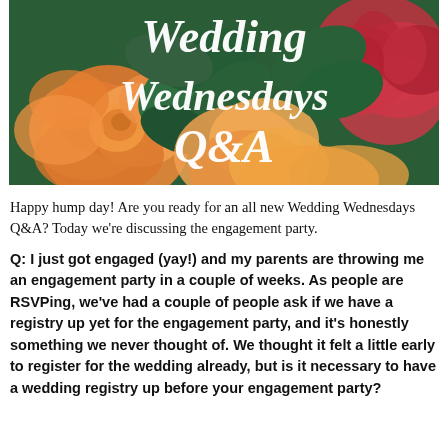[Figure (illustration): Banner image with flowers (orange roses, red flowers, green leaves) and italic white text reading 'Wedding Wednesdays Q&A']
Happy hump day!  Are you ready for an all new Wedding Wednesdays Q&A?  Today we're discussing the engagement party.
Q: I just got engaged (yay!) and my parents are throwing me an engagement party in a couple of weeks.  As people are RSVPing, we've had a couple of people ask if we have a registry up yet for the engagement party, and it's honestly something we never thought of.  We thought it felt a little early to register for the wedding already, but is it necessary to have a wedding registry up before your engagement party?